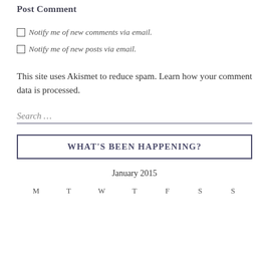Post Comment
Notify me of new comments via email.
Notify me of new posts via email.
This site uses Akismet to reduce spam. Learn how your comment data is processed.
Search …
WHAT'S BEEN HAPPENING?
January 2015
M  T  W  T  F  S  S